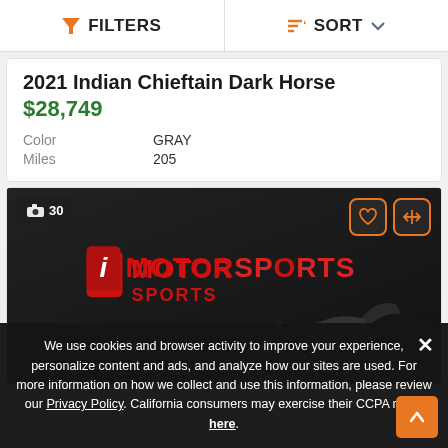FILTERS   SORT
2021 Indian Chieftain Dark Horse
$28,749
Color   GRAY
Miles   205
[Figure (photo): Motorcycle dealer listing photo showing iMotorsports dealer logo overlay on dark background with motorcycle silhouette. Photo count badge showing 30 photos, heart and compare action buttons.]
We use cookies and browser activity to improve your experience, personalize content and ads, and analyze how our sites are used. For more information on how we collect and use this information, please review our Privacy Policy. California consumers may exercise their CCPA rights here.